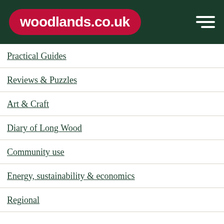woodlands.co.uk
Practical Guides
Reviews & Puzzles
Art & Craft
Diary of Long Wood
Community use
Energy, sustainability & economics
Regional